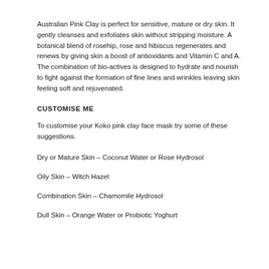Australian Pink Clay is perfect for sensitive, mature or dry skin.  It gently cleanses and exfoliates skin without stripping moisture.  A botanical blend of rosehip, rose and hibiscus regenerates and renews by giving skin a boost of antioxidants and Vitamin C and A.  The combination of bio-actives is designed to hydrate and nourish to fight against the formation of fine lines and wrinkles leaving skin feeling soft and rejuvenated.
CUSTOMISE ME
To customise your Koko pink clay face mask try some of these suggestions.
Dry or Mature Skin – Coconut Water or Rose Hydrosol
Oily Skin – Witch Hazel
Combination Skin – Chamomile Hydrosol
Dull Skin – Orange Water or Probiotic Yoghurt